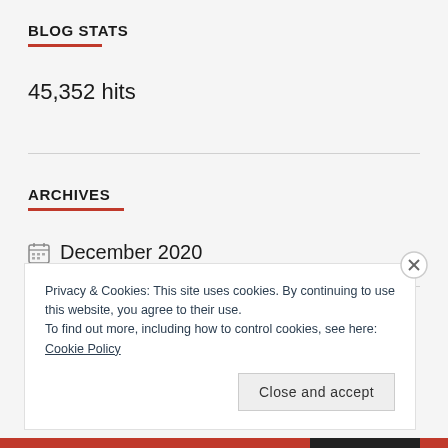BLOG STATS
45,352 hits
ARCHIVES
December 2020
Privacy & Cookies: This site uses cookies. By continuing to use this website, you agree to their use.
To find out more, including how to control cookies, see here: Cookie Policy
Close and accept